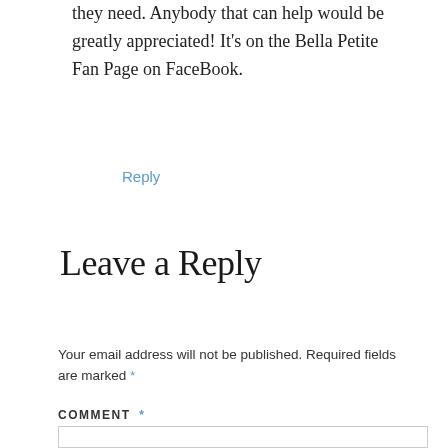they need. Anybody that can help would be greatly appreciated! It's on the Bella Petite Fan Page on FaceBook.
Reply
Leave a Reply
Your email address will not be published. Required fields are marked *
COMMENT *